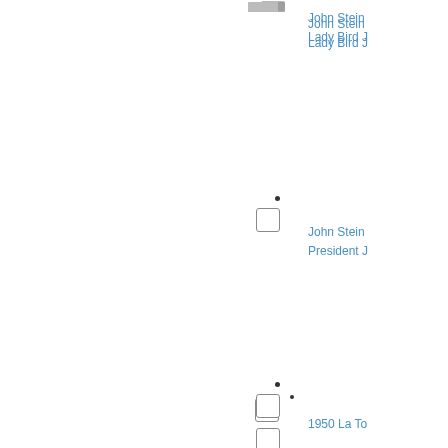[Figure (other): Partial thumbnail image at top center]
John Stein
Lady Bird J
[Figure (other): Checkbox UI element with dot bullet, middle area]
John Stein
President J
[Figure (other): Checkbox UI element with dot bullet, lower area]
1950 La To